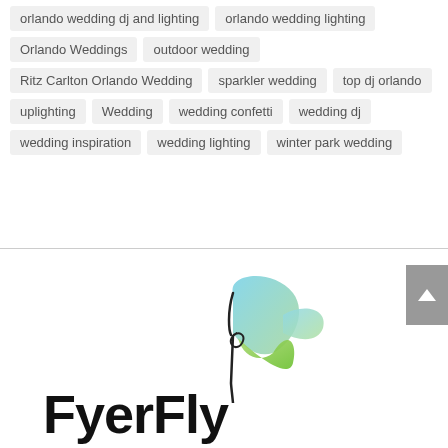orlando wedding dj and lighting
orlando wedding lighting
Orlando Weddings
outdoor wedding
Ritz Carlton Orlando Wedding
sparkler wedding
top dj orlando
uplighting
Wedding
wedding confetti
wedding dj
wedding inspiration
wedding lighting
winter park wedding
[Figure (logo): FyerFly company logo with stylized butterfly wings in blue and green, and bold black text reading FyerFly]